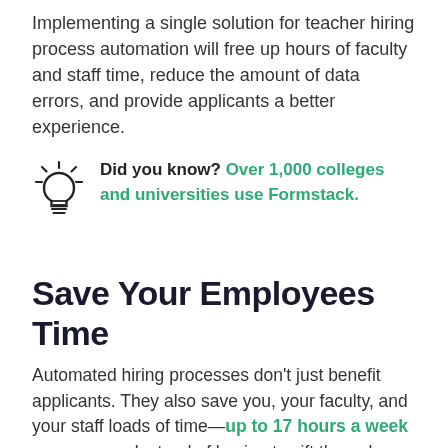Implementing a single solution for teacher hiring process automation will free up hours of faculty and staff time, reduce the amount of data errors, and provide applicants a better experience.
Did you know? Over 1,000 colleges and universities use Formstack.
Save Your Employees Time
Automated hiring processes don't just benefit applicants. They also save you, your faculty, and your staff loads of time—up to 17 hours a week on average. Instead of having to sift through piles of applications, filing coffee-stained resumes, and writing out offers of employment,